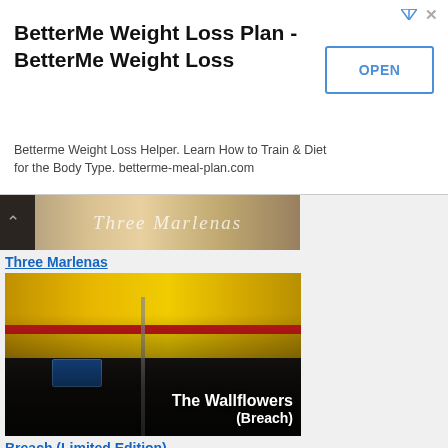[Figure (screenshot): Advertisement banner for BetterMe Weight Loss Plan with an OPEN button]
BetterMe Weight Loss Plan - BetterMe Weight Loss
Betterme Weight Loss Helper. Learn How to Train & Diet for the Body Type. betterme-meal-plan.com
[Figure (photo): Partial album cover image showing text 'Three Marlenas' with a dark strip]
Three Marlenas
[Figure (photo): Album cover for The Wallflowers - Breach (Limited Edition). Band members standing on a street in front of Asian storefronts with Chinese characters. Text reads 'The Wallflowers (Breach)']
Breach (Limited Edition)